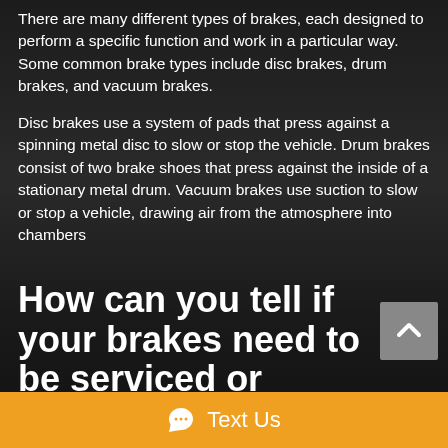There are many different types of brakes, each designed to perform a specific function and work in a particular way. Some common brake types include disc brakes, drum brakes, and vacuum brakes.
Disc brakes use a system of pads that press against a spinning metal disc to slow or stop the vehicle. Drum brakes consist of two brake shoes that press against the inside of a stationary metal drum. Vacuum brakes use suction to slow or stop a vehicle, drawing air from the atmosphere into chambers
How can you tell if your brakes need to be serviced or replaced?
If your car is making a noise when you brake, there's a
Text Us